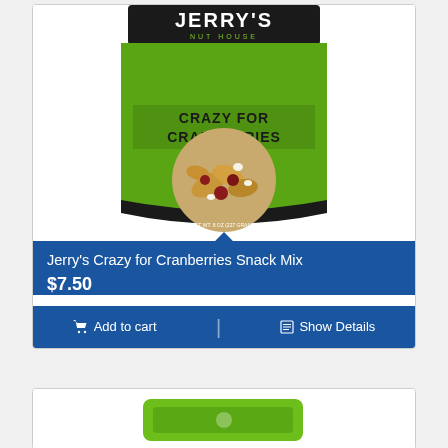[Figure (photo): Product image of Jerry's Nut House 'Crazy for Cranberries' snack mix in a green and black resealable bag with a circular window showing nuts, dried cranberries, and white chocolate chips.]
Jerry's Crazy for Cranberries Snack Mix
$7.50
Add to cart
Show Details
[Figure (photo): Partial product image showing a green package at the bottom of the page.]